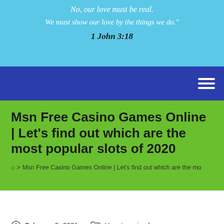No, our love must be real.
We must show our love by the things we do."
1 John 3:18
[Figure (screenshot): Navy navigation bar with hamburger menu icon on the right]
Msn Free Casino Games Online | Let’s find out which are the most popular slots of 2020
⌂ > Msn Free Casino Games Online | Let’s find out which are the mo
February 5, 2021  -  Uncategorised